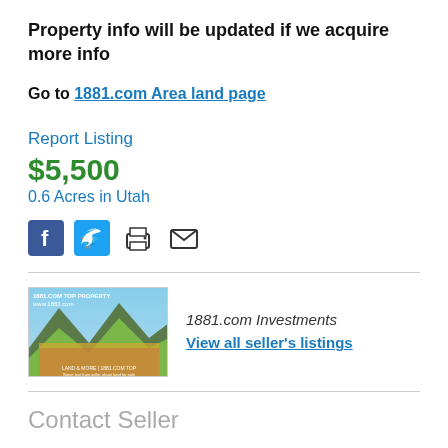Property info will be updated if we acquire more info
Go to 1881.com Area land page
Report Listing
$5,500
0.6 Acres in Utah
[Figure (infographic): Social media sharing icons: Facebook, Twitter, Print, Email]
[Figure (photo): 1881.com Investments property photo showing mountain landscape with trees]
1881.com Investments
View all seller's listings
Contact Seller